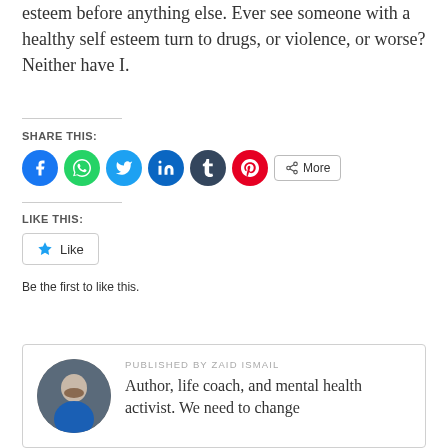esteem before anything else. Ever see someone with a healthy self esteem turn to drugs, or violence, or worse? Neither have I.
SHARE THIS:
[Figure (infographic): Row of social share icon buttons: Facebook (blue circle), WhatsApp (green circle), Twitter (light blue circle), LinkedIn (dark blue circle), Tumblr (dark navy circle), Pinterest (red circle), and a More button with share icon]
LIKE THIS:
[Figure (infographic): Like button with blue star icon and 'Like' text]
Be the first to like this.
PUBLISHED BY ZAID ISMAIL
Author, life coach, and mental health activist. We need to change